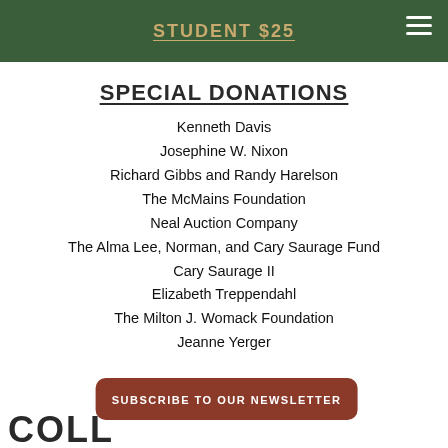STUDENT $25
SPECIAL DONATIONS
Kenneth Davis
Josephine W. Nixon
Richard Gibbs and Randy Harelson
The McMains Foundation
Neal Auction Company
The Alma Lee, Norman, and Cary Saurage Fund
Cary Saurage II
Elizabeth Treppendahl
The Milton J. Womack Foundation
Jeanne Yerger
SUBSCRIBE TO OUR NEWSLETTER
COLL